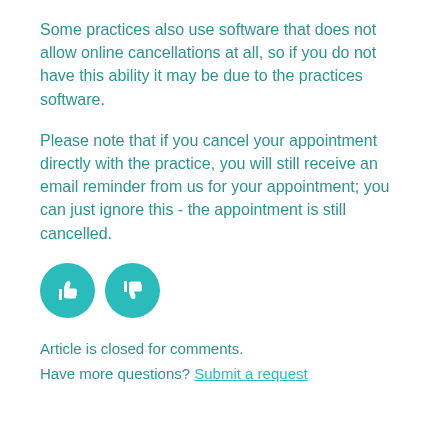Some practices also use software that does not allow online cancellations at all, so if you do not have this ability it may be due to the practices software.
Please note that if you cancel your appointment directly with the practice, you will still receive an email reminder from us for your appointment; you can just ignore this - the appointment is still cancelled.
[Figure (other): Two teal circular thumbs-up and thumbs-down feedback buttons]
Article is closed for comments.
Have more questions? Submit a request